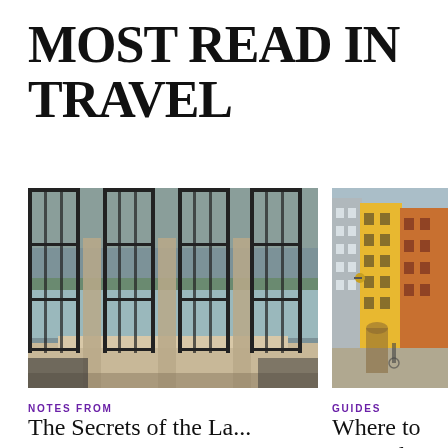MOST READ IN TRAVEL
[Figure (photo): Interior view through large metal-framed glass doors/windows looking out to a lake and mountains, with stone columns and a balustrade]
NOTES FROM
The Secrets of the La...
[Figure (photo): Colorful buildings lining a cobblestone street in Copenhagen, featuring yellow, orange, grey and white facades]
GUIDES
Where to Eat and Caffeinate in Copenhagen